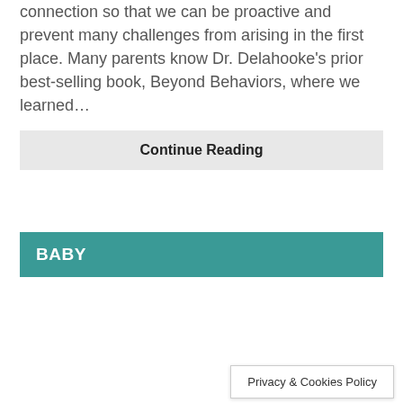connection so that we can be proactive and prevent many challenges from arising in the first place. Many parents know Dr. Delahooke's prior best-selling book, Beyond Behaviors, where we learned…
Continue Reading
BABY
Privacy & Cookies Policy